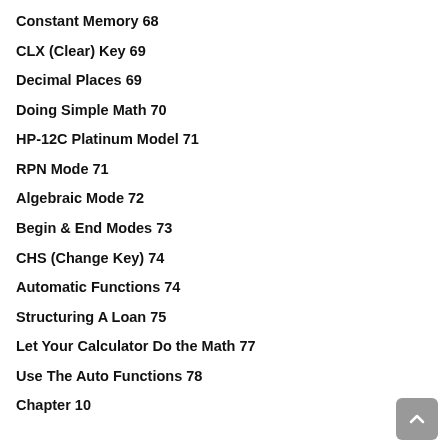Constant Memory 68
CLX (Clear) Key 69
Decimal Places 69
Doing Simple Math 70
HP-12C Platinum Model 71
RPN Mode 71
Algebraic Mode 72
Begin & End Modes 73
CHS (Change Key) 74
Automatic Functions 74
Structuring A Loan 75
Let Your Calculator Do the Math 77
Use The Auto Functions 78
Chapter 10